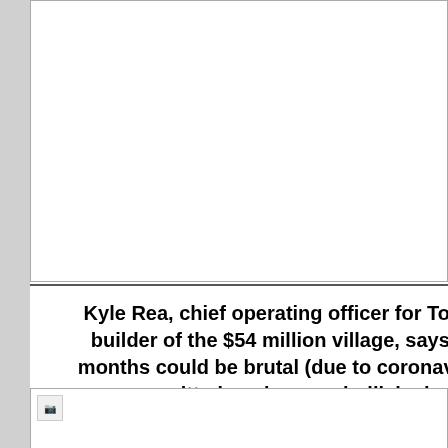[Figure (other): White box area at top of page, partially visible, bordered]
Kyle Rea, chief operating officer for Tolles De builder of the $54 million village, says: "The months could be brutal (due to coronavirus pa are committed, and we are bullish about wha
"When everything snaps back to life, this is th will want to go."
[Figure (other): Partially visible image at bottom with broken image icon]